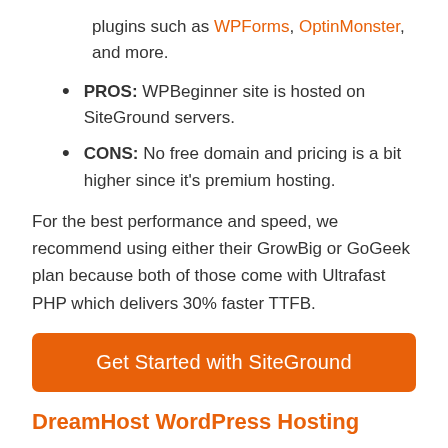plugins such as WPForms, OptinMonster, and more.
PROS: WPBeginner site is hosted on SiteGround servers.
CONS: No free domain and pricing is a bit higher since it's premium hosting.
For the best performance and speed, we recommend using either their GrowBig or GoGeek plan because both of those come with Ultrafast PHP which delivers 30% faster TTFB.
Get Started with SiteGround
DreamHost WordPress Hosting